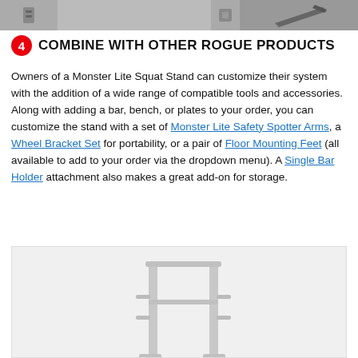[Figure (photo): Top strip showing partial product images — small hardware pieces on left, a component in the middle, and a dark accessory on the right.]
4 COMBINE WITH OTHER ROGUE PRODUCTS
Owners of a Monster Lite Squat Stand can customize their system with the addition of a wide range of compatible tools and accessories. Along with adding a bar, bench, or plates to your order, you can customize the stand with a set of Monster Lite Safety Spotter Arms, a Wheel Bracket Set for portability, or a pair of Floor Mounting Feet (all available to add to your order via the dropdown menu). A Single Bar Holder attachment also makes a great add-on for storage.
[Figure (illustration): Line illustration of a Monster Lite Squat Stand — two vertical uprights connected by a horizontal pull-up bar at the top, with peg-style hardware visible on the uprights. Light grey rendering on a light grey background.]